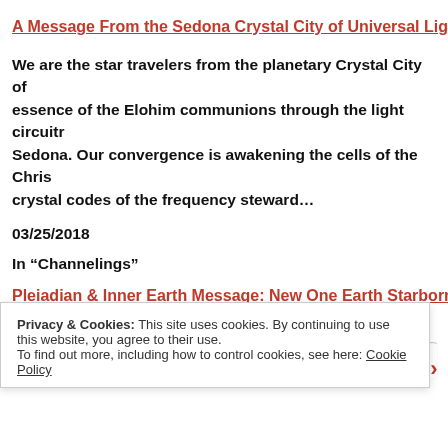A Message From the Sedona Crystal City of Universal Light
We are the star travelers from the planetary Crystal City of essence of the Elohim communions through the light circuitry Sedona. Our convergence is awakening the cells of the Chris crystal codes of the frequency steward…
03/25/2018
In “Channelings”
Pleiadian & Inner Earth Message: New One Earth Starborn
Privacy & Cookies: This site uses cookies. By continuing to use this website, you agree to their use.
To find out more, including how to control cookies, see here: Cookie Policy
Close and accept